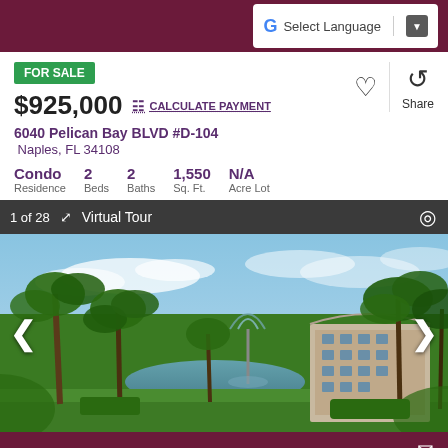Select Language
FOR SALE
$925,000  CALCULATE PAYMENT
6040 Pelican Bay BLVD #D-104
Naples, FL 34108
Condo Residence    2 Beds    2 Baths    1,550 Sq. Ft.    N/A Acre Lot
1 of 28   Virtual Tour
[Figure (photo): Exterior view of a multi-story condominium building in Pelican Bay, Naples FL, surrounded by tropical palm trees, lush greenery, a fountain sculpture, and pond under a partly cloudy blue sky.]